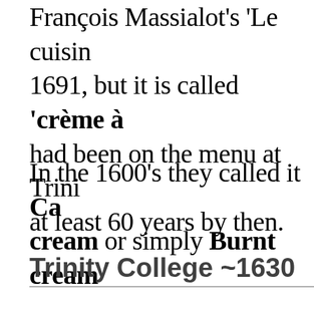François Massialot's 'Le cuisin 1691, but it is called 'crème à had been on the menu at Trini at least 60 years by then.
In the 1600's they called it Ca cream or simply Burnt cream
Trinity College ~1630